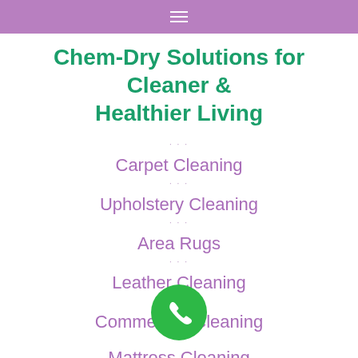☰
Chem-Dry Solutions for Cleaner & Healthier Living
Carpet Cleaning
Upholstery Cleaning
Area Rugs
Leather Cleaning
Commercial Cleaning
Mattress Cleaning